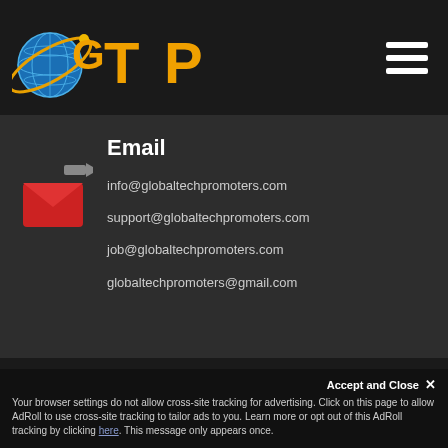[Figure (logo): GTP Global Tech Promoters logo with globe icon in blue and orange text]
Email
[Figure (illustration): Red email envelope icon with arrow]
info@globaltechpromoters.com
support@globaltechpromoters.com
job@globaltechpromoters.com
globaltechpromoters@gmail.com
© 2015-2018 Global Tech Promoters. All rights reserved.
Accept and Close ×
Your browser settings do not allow cross-site tracking for advertising. Click on this page to allow AdRoll to use cross-site tracking to tailor ads to you. Learn more or opt out of this AdRoll tracking by clicking here. This message only appears once.